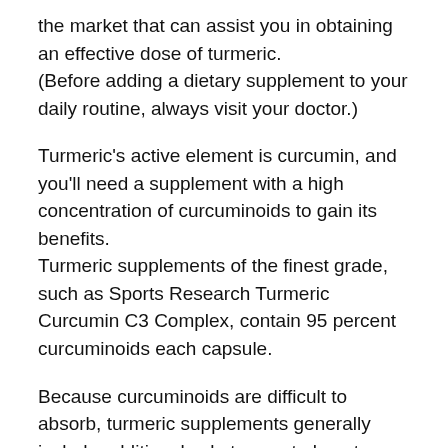the market that can assist you in obtaining an effective dose of turmeric.
(Before adding a dietary supplement to your daily routine, always visit your doctor.)
Turmeric's active element is curcumin, and you'll need a supplement with a high concentration of curcuminoids to gain its benefits.
Turmeric supplements of the finest grade, such as Sports Research Turmeric Curcumin C3 Complex, contain 95 percent curcuminoids each capsule.
Because curcuminoids are difficult to absorb, turmeric supplements generally include additional substances to boost curcumin bioavailability.
Piperine, a component of black pepper, aids in the absorption of curcumin.